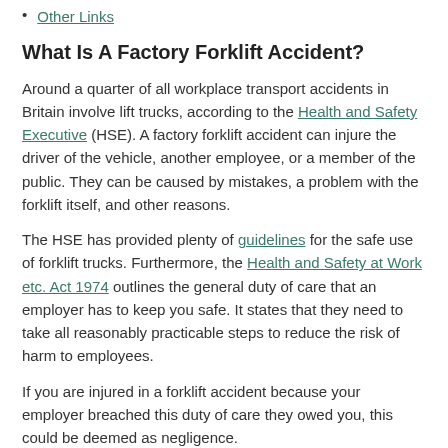Other Links
What Is A Factory Forklift Accident?
Around a quarter of all workplace transport accidents in Britain involve lift trucks, according to the Health and Safety Executive (HSE). A factory forklift accident can injure the driver of the vehicle, another employee, or a member of the public. They can be caused by mistakes, a problem with the forklift itself, and other reasons.
The HSE has provided plenty of guidelines for the safe use of forklift trucks. Furthermore, the Health and Safety at Work etc. Act 1974 outlines the general duty of care that an employer has to keep you safe. It states that they need to take all reasonably practicable steps to reduce the risk of harm to employees.
If you are injured in a forklift accident because your employer breached this duty of care they owed you, this could be deemed as negligence.
In order to claim, you need to prove that:
Your employer had a duty of care towards you